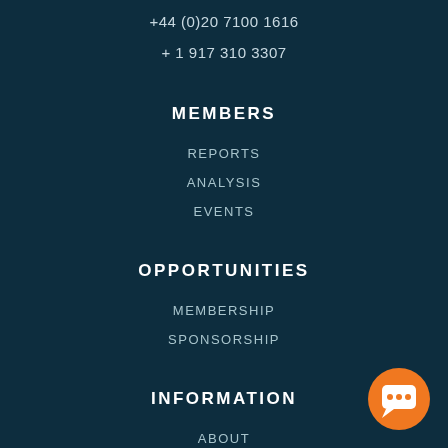+44 (0)20 7100 1616
+ 1 917 310 3307
MEMBERS
REPORTS
ANALYSIS
EVENTS
OPPORTUNITIES
MEMBERSHIP
SPONSORSHIP
INFORMATION
ABOUT
CONTACT
[Figure (illustration): Orange circular chat button icon in the bottom-right corner]